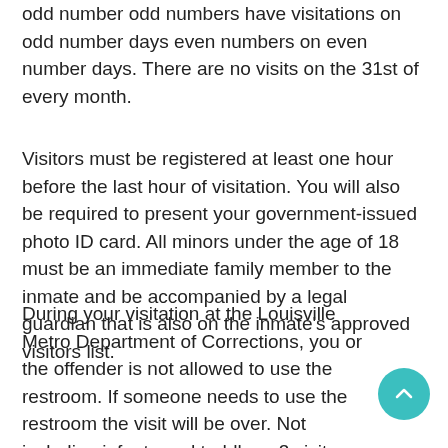odd number odd numbers have visitations on odd number days even numbers on even number days. There are no visits on the 31st of every month.
Visitors must be registered at least one hour before the last hour of visitation. You will also be required to present your government-issued photo ID card. All minors under the age of 18 must be an immediate family member to the inmate and be accompanied by a legal guardian that is also on the inmate's approved visitors list.
During your visitation at the Louisville Metro Department of Corrections, you or the offender is not allowed to use the restroom. If someone needs to use the restroom the visit will be over. Not including infants and toddlers, 3 visitors are allowed to visit at a time. Offenders are allowed to have visits each week.